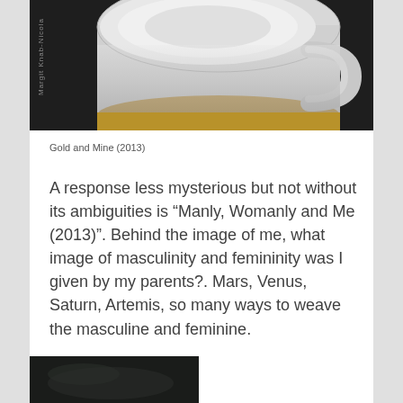[Figure (photo): Close-up photograph of a white ceramic cup or teacup on a dark background, showing the handle and body of the cup from below. A vertical watermark text reads 'Margit Knab-Nicola' along the left side.]
Gold and Mine (2013)
A response less mysterious but not without its ambiguities is “Manly, Womanly and Me (2013)”. Behind the image of me, what image of masculinity and femininity was I given by my parents?. Mars, Venus, Saturn, Artemis, so many ways to weave the masculine and feminine.
[Figure (photo): Partial dark photograph visible at the bottom of the page, cropped.]